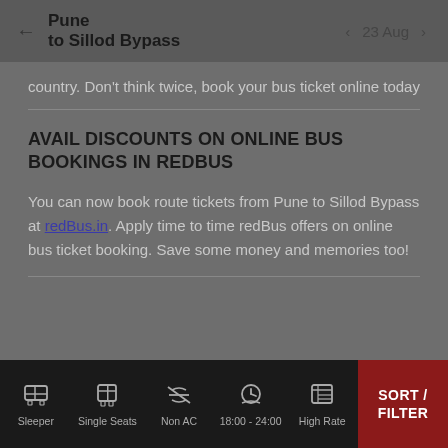← Pune to Sillod Bypass  ‹ 23 Aug ›
country. Don't think twice, book your bus ticket online today
AVAIL DISCOUNTS ON ONLINE BUS BOOKINGS IN REDBUS
You can now book route tickets from Pune to Sillod Bypass at redBus.in. Apply time to time redBus offers on online bus ticket booking. Save some money and memories too!
Sleeper  Single Seats  Non AC  18:00 - 24:00  High Rate  SORT / FILTER